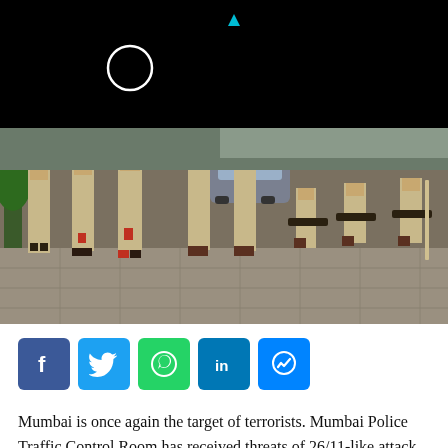[Figure (photo): Black header bar with a white circle icon and a small cyan triangle/dot]
[Figure (photo): Indian police officers in khaki uniforms standing and sitting in a courtyard area, some holding batons, with cars parked in the background]
[Figure (infographic): Social media share buttons: Facebook (blue), Twitter (light blue), WhatsApp (green), LinkedIn (blue), Messenger (blue)]
Mumbai is once again the target of terrorists. Mumbai Police Traffic Control Room has received threats of 26/11-like attack in the city from terrorists on Saturday.